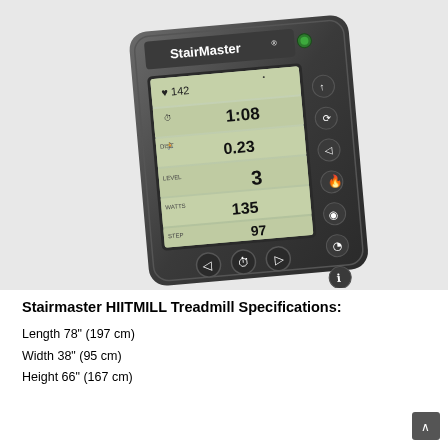[Figure (photo): StairMaster HIITMILL treadmill console/display unit shown at an angle. The console is dark gray/black with a rectangular LCD screen showing workout metrics including heart rate 142, time 1:08, distance 0.23, level 3, watts 135, and 97. Several circular control buttons are visible on the right side and bottom of the console. The StairMaster logo is displayed at the top of the unit.]
Stairmaster HIITMILL Treadmill Specifications:
Length 78" (197 cm)
Width 38" (95 cm)
Height 66" (167 cm)